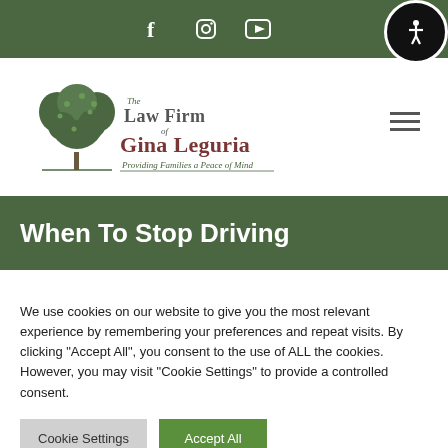Social media icons: Facebook, Instagram, YouTube; Accessibility button
[Figure (logo): The Law Firm of Gina Leguria — Providing Families a Peace of Mind logo with tree illustration]
When To Stop Driving
We use cookies on our website to give you the most relevant experience by remembering your preferences and repeat visits. By clicking "Accept All", you consent to the use of ALL the cookies. However, you may visit "Cookie Settings" to provide a controlled consent.